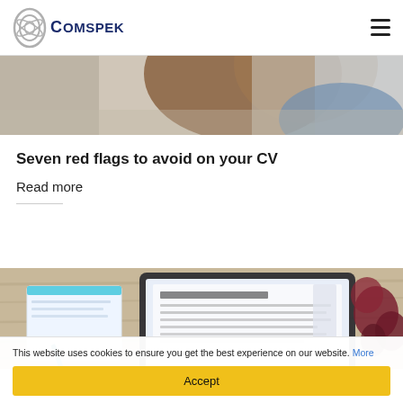COMSPEK INTERNATIONAL LIMITED
[Figure (photo): Partial view of a person reading or browsing, woman with long hair seen from behind, blurred indoor background]
Seven red flags to avoid on your CV
Read more
[Figure (photo): Laptop open with a document/CV on screen, notebook with blue pen, and red flowers on a wooden table surface]
This website uses cookies to ensure you get the best experience on our website. More
Accept